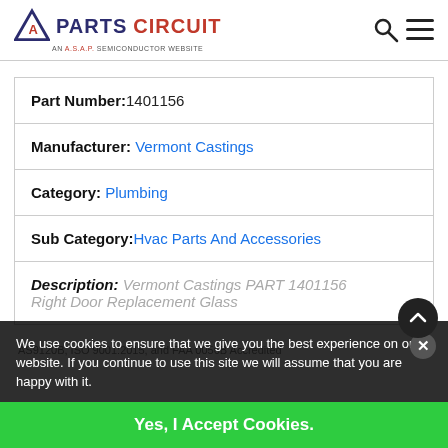[Figure (logo): Parts Circuit logo - triangle with A, text PARTS CIRCUIT, subtitle AN A.S.A.P. SEMICONDUCTOR WEBSITE]
| Part Number: | 1401156 |
| Manufacturer: | Vermont Castings |
| Category: | Plumbing |
| Sub Category: | Hvac Parts And Accessories |
We use cookies to ensure that we give you the best experience on our website. If you continue to use this site we will assume that you are happy with it.
Yes, I Accept Cookies.